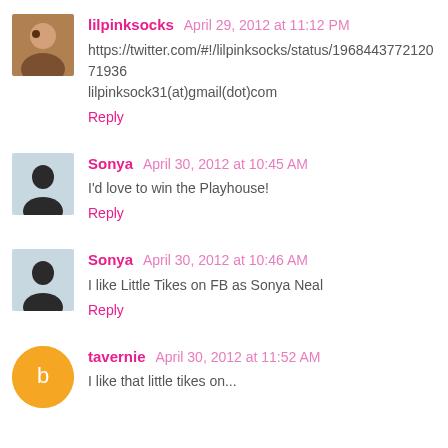lilpinksocks April 29, 2012 at 11:12 PM
https://twitter.com/#!/lilpinksocks/status/19684437721207936
lilpinksock31(at)gmail(dot)com
Reply
Sonya April 30, 2012 at 10:45 AM
I'd love to win the Playhouse!
Reply
Sonya April 30, 2012 at 10:46 AM
I like Little Tikes on FB as Sonya Neal
Reply
tavernie April 30, 2012 at 11:52 AM